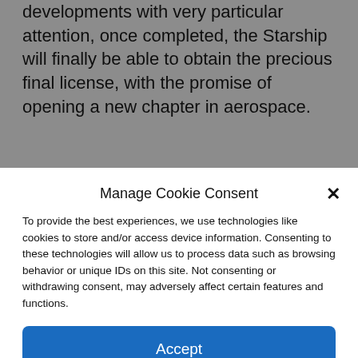developments with very particular attention, once completed, the Starship will finally be able to obtain the precious final license, with the promise of opening a new chapter in aerospace.
Share this:
Manage Cookie Consent
To provide the best experiences, we use technologies like cookies to store and/or access device information. Consenting to these technologies will allow us to process data such as browsing behavior or unique IDs on this site. Not consenting or withdrawing consent, may adversely affect certain features and functions.
Accept
Cookie Policy